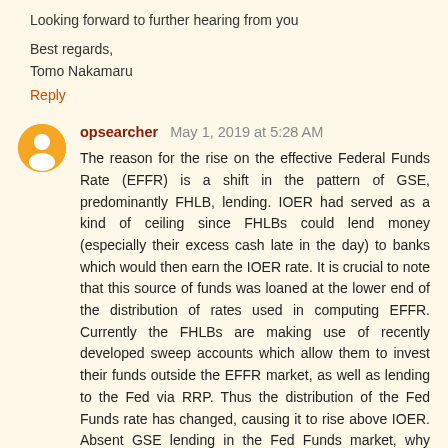Looking forward to further hearing from you
Best regards,
Tomo Nakamaru
Reply
opsearcher  May 1, 2019 at 5:28 AM
The reason for the rise on the effective Federal Funds Rate (EFFR) is a shift in the pattern of GSE, predominantly FHLB, lending. IOER had served as a kind of ceiling since FHLBs could lend money (especially their excess cash late in the day) to banks which would then earn the IOER rate. It is crucial to note that this source of funds was loaned at the lower end of the distribution of rates used in computing EFFR. Currently the FHLBs are making use of recently developed sweep accounts which allow them to invest their funds outside the EFFR market, as well as lending to the Fed via RRP. Thus the distribution of the Fed Funds rate has changed, causing it to rise above IOER. Absent GSE lending in the Fed Funds market, why would a bank lend at